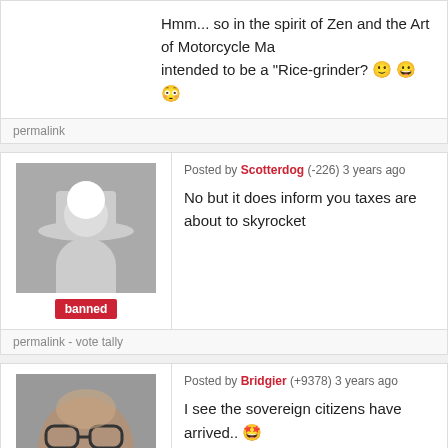Hmm... so in the spirit of Zen and the Art of Motorcycle Ma... intended to be a "Rice-grinder? 🙂 😀 😳
permalink
Posted by Scotterdog (-226) 3 years ago
No but it does inform you taxes are about to skyrocket
permalink  -  vote tally
Posted by Bridgier (+9378) 3 years ago
I see the sovereign citizens have arrived.. 🤩